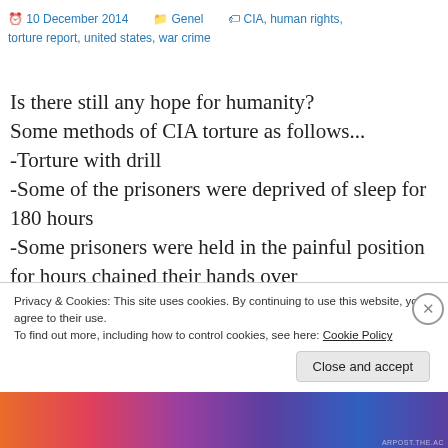10 December 2014  Genel  CIA, human rights, torture report, united states, war crime
Is there still any hope for humanity? Some methods of CIA torture as follows... -Torture with drill -Some of the prisoners were deprived of sleep for 180 hours -Some prisoners were held in the painful position for hours chained their hands over
Privacy & Cookies: This site uses cookies. By continuing to use this website, you agree to their use. To find out more, including how to control cookies, see here: Cookie Policy
Close and accept